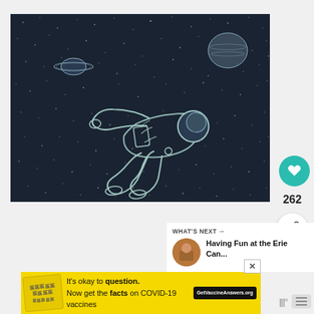[Figure (illustration): Digital illustration of an astronaut in a spacesuit floating/swimming through deep space on a dark navy background with white stars scattered throughout. Two planets are visible: a ringed planet (Saturn-like) on the left and a larger planet (Jupiter-like) on the upper right. The astronaut is drawn in a light teal/white outline sketch style, depicted horizontally as if swimming through space.]
262
WHAT'S NEXT →
Having Fun at the Erie Can...
It's okay to question. Now get the facts on COVID-19 vaccines GetVaccineAnswers.org